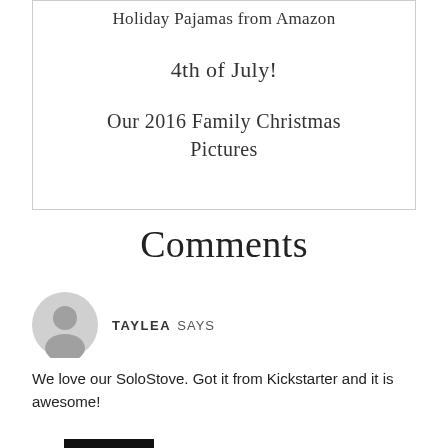Holiday Pajamas from Amazon
4th of July!
Our 2016 Family Christmas Pictures
Comments
TAYLEA SAYS
We love our SoloStove. Got it from Kickstarter and it is awesome!
REPLY